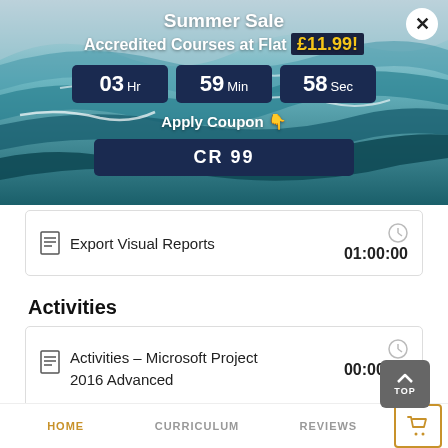[Figure (screenshot): Summer Sale banner with ocean/beach background, showing countdown timer (03 Hr, 59 Min, 58 Sec), coupon code CR99, and price £11.99]
Export Visual Reports   01:00:00
Activities
Activities – Microsoft Project 2016 Advanced   00:00:00
Mock Exam
HOME   CURRICULUM   REVIEWS   [cart icon]